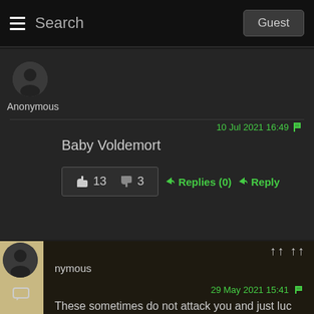Search | Guest
Anonymous
10 Jul 2021 16:49
Baby Voldemort
👍 13  👎 3  ➤Replies (0)  ➤Reply
nymous
29 May 2021 15:41
These sometimes do not attack you and just luc